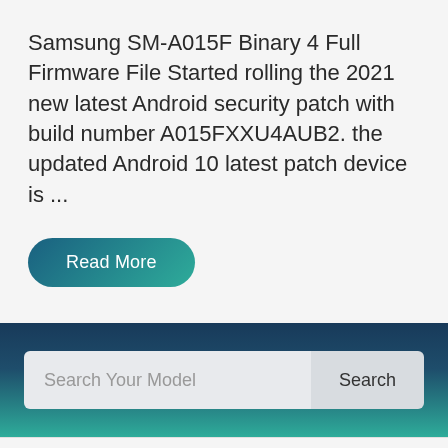Samsung SM-A015F Binary 4 Full Firmware File Started rolling the 2021 new latest Android security patch with build number A015FXXU4AUB2. the updated Android 10 latest patch device is ...
Read More
[Figure (other): Search bar widget with teal/dark blue gradient background containing a text input labeled 'Search Your Model' and a 'Search' button]
...